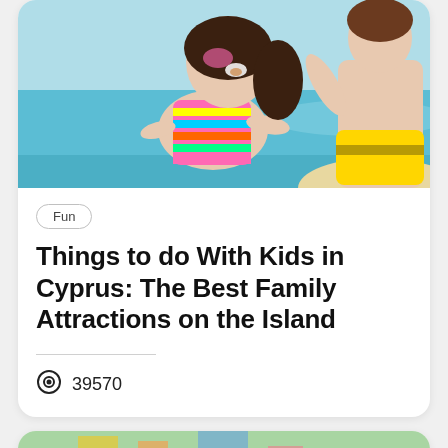[Figure (photo): Children playing on a beach — a girl in a colorful striped swimsuit with sunscreen on her nose, and a boy in yellow swim shorts, both running or playing near turquoise water.]
Fun
Things to do With Kids in Cyprus: The Best Family Attractions on the Island
39570
[Figure (photo): Partially visible second card with a colorful image, cut off at the bottom of the page.]